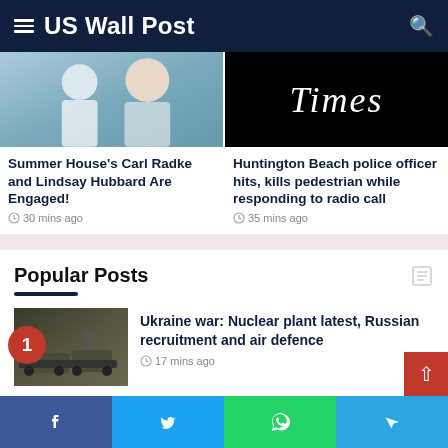US Wall Post
[Figure (photo): Photo of Summer House cast members Carl Radke and Lindsay Hubbard smiling]
Summer House's Carl Radke and Lindsay Hubbard Are Engaged!
30 mins ago
[Figure (photo): The Times newspaper logo on black background]
Huntington Beach police officer hits, kills pedestrian while responding to radio call
35 mins ago
Popular Posts
[Figure (photo): Military vehicles and soldiers in Ukraine]
Ukraine war: Nuclear plant latest, Russian recruitment and air defence
17 mins ago